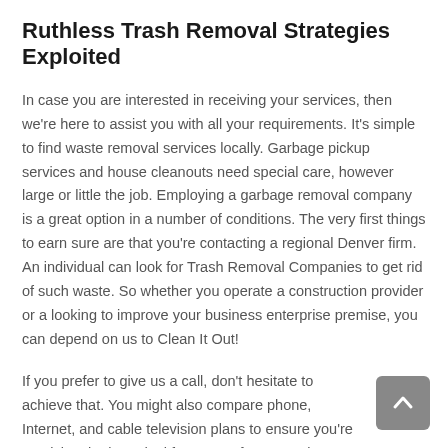Ruthless Trash Removal Strategies Exploited
In case you are interested in receiving your services, then we're here to assist you with all your requirements. It's simple to find waste removal services locally. Garbage pickup services and house cleanouts need special care, however large or little the job. Employing a garbage removal company is a great option in a number of conditions. The very first things to earn sure are that you're contacting a regional Denver firm. An individual can look for Trash Removal Companies to get rid of such waste. So whether you operate a construction provider or a looking to improve your business enterprise premise, you can depend on us to Clean It Out!
If you prefer to give us a call, don't hesitate to achieve that. You might also compare phone, Internet, and cable television plans to ensure you're receiving the best deal for many of your services! When you're trying to find a prompt and dependable garbage removal support, you've arrive at the appropriate place.